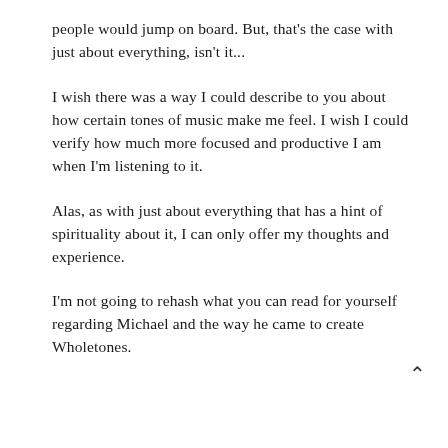people would jump on board. But, that's the case with just about everything, isn't it...
I wish there was a way I could describe to you about how certain tones of music make me feel. I wish I could verify how much more focused and productive I am when I'm listening to it.
Alas, as with just about everything that has a hint of spirituality about it, I can only offer my thoughts and experience.
I'm not going to rehash what you can read for yourself regarding Michael and the way he came to create Wholetones.